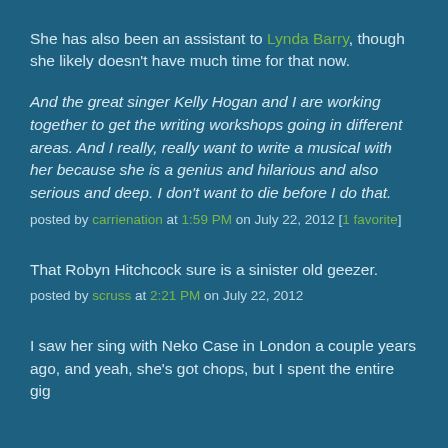She has also been an assistant to Lynda Barry, though she likely doesn't have much time for that now.
And the great singer Kelly Hogan and I are working together to get the writing workshops going in different areas. And I really, really want to write a musical with her because she is a genius and hilarious and also serious and deep. I don't want to die before I do that.
posted by carrienation at 1:59 PM on July 22, 2012 [1 favorite]
That Robyn Hitchcock sure is a sinister old geezer.
posted by scruss at 2:21 PM on July 22, 2012
I saw her sing with Neko Case in London a couple years ago, and yeah, she's got chops, but I spent the entire gig